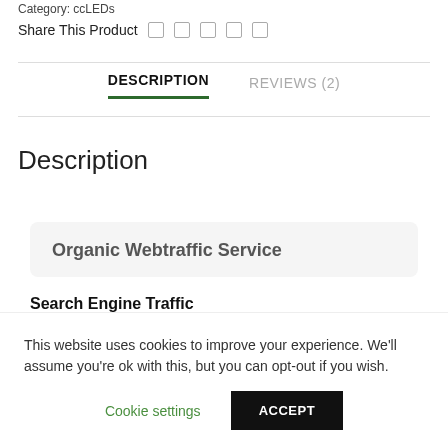Category: ccLEDs
Share This Product
DESCRIPTION | REVIEWS (2)
Description
Organic Webtraffic Service
Search Engine Traffic
This website uses cookies to improve your experience. We'll assume you're ok with this, but you can opt-out if you wish.
Cookie settings  ACCEPT